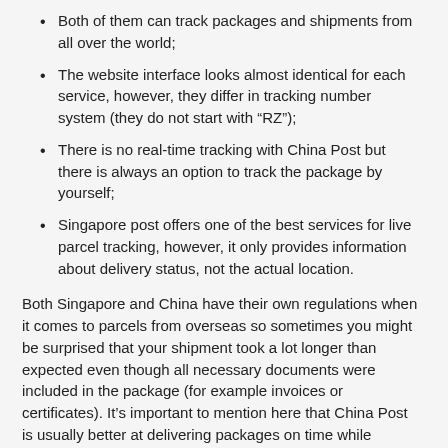Both of them can track packages and shipments from all over the world;
The website interface looks almost identical for each service, however, they differ in tracking number system (they do not start with “RZ”);
There is no real-time tracking with China Post but there is always an option to track the package by yourself;
Singapore post offers one of the best services for live parcel tracking, however, it only provides information about delivery status, not the actual location.
Both Singapore and China have their own regulations when it comes to parcels from overseas so sometimes you might be surprised that your shipment took a lot longer than expected even though all necessary documents were included in the package (for example invoices or certificates). It’s important to mention here that China Post is usually better at delivering packages on time while Singapore Post might take up more days before they can deliver your order. So if you are trying to get your goods on time, we recommend choosing China Post instead.
In the end, it depends on what you are trying to achieve with your